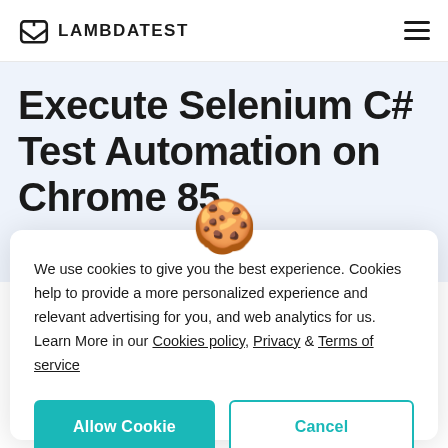LAMBDATEST
Execute Selenium C# Test Automation on Chrome 85
We use cookies to give you the best experience. Cookies help to provide a more personalized experience and relevant advertising for you, and web analytics for us. Learn More in our Cookies policy, Privacy & Terms of service
Allow Cookie | Cancel